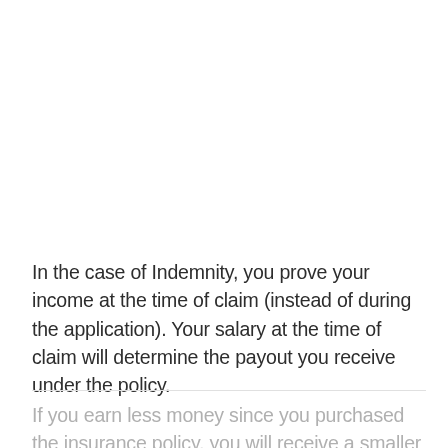In the case of Indemnity, you prove your income at the time of claim (instead of during the application). Your salary at the time of claim will determine the payout you receive under the policy.
If you earn less money since you purchased the insurance policy, you will receive a smaller monthly